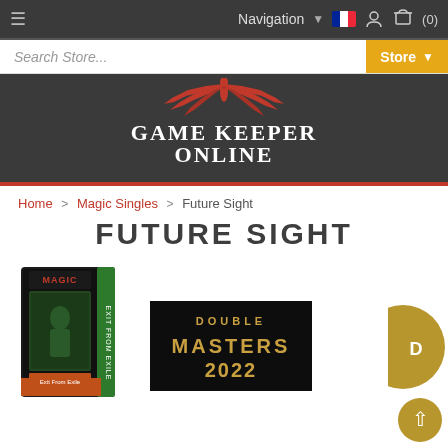Navigation | (0)
Search Store...
[Figure (logo): Game Keeper Online logo with red winged eagle above text GAME KEEPER ONLINE in white serif font on dark background]
Home > Magic Singles > Future Sight
FUTURE SIGHT
[Figure (photo): Magic: The Gathering Exit From Exile Commander deck box]
[Figure (photo): Double Masters 2022 product image with gold text on black background]
[Figure (photo): Partially visible circular gold icon with letter D]